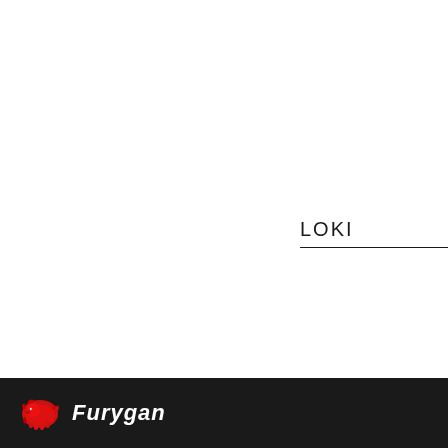LOKI
[Figure (logo): Furygan brand logo with red bull icon and italic white text 'Furygan' on black background footer bar]